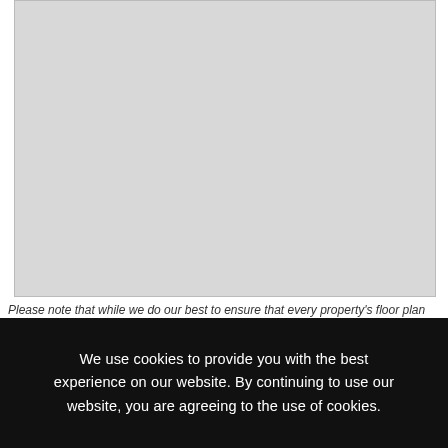[Figure (map): Light grey placeholder map or floor plan image area]
Please note that while we do our best to ensure that every property's floor plan and location is correctly mapped, we cannot guarantee accuracy. Please Contact Us should you have any queries.
EasySell   Download EasySell Brochure
We use cookies to provide you with the best experience on our website. By continuing to use our website, you are agreeing to the use of cookies.